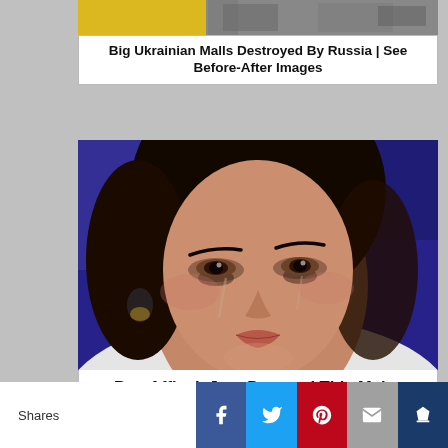[Figure (photo): News card with image of destruction and yellow highlight, headline about Ukrainian malls destroyed by Russia]
Big Ukrainian Malls Destroyed By Russia | See Before-After Images
[Figure (photo): Woman crying, close-up portrait with dark background and dark hair pulled back, wearing white outfit and dark earrings]
Ben Affleck Just Dropped This Major Bombshell
[Figure (photo): Partial image of person with curly brown hair, cropped at bottom]
Shares